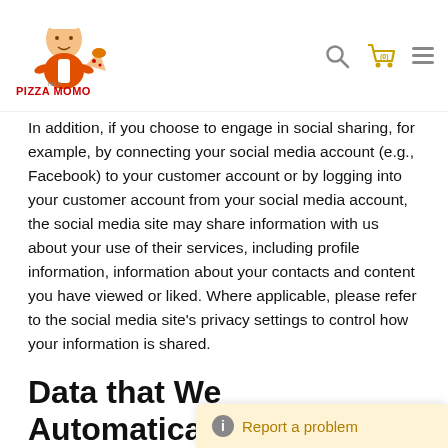Pizza Momo — navigation header with logo, search, cart (0), and menu icons
In addition, if you choose to engage in social sharing, for example, by connecting your social media account (e.g., Facebook) to your customer account or by logging into your customer account from your social media account, the social media site may share information with us about your use of their services, including profile information, information about your contacts and content you have viewed or liked. Where applicable, please refer to the social media site's privacy settings to control how your information is shared.
Data that We Automatically Collect
When you visit our website, we, or third parties on our behalf, automatically collect and store information about your device and your activities. This ...